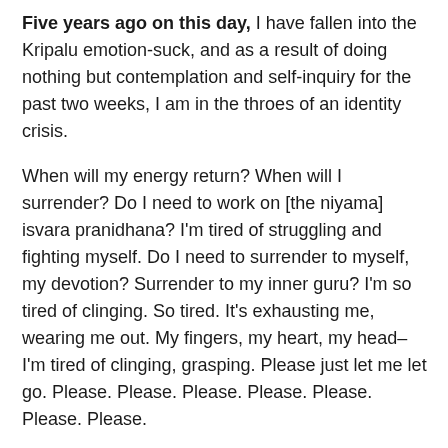Five years ago on this day, I have fallen into the Kripalu emotion-suck, and as a result of doing nothing but contemplation and self-inquiry for the past two weeks, I am in the throes of an identity crisis.
When will my energy return? When will I surrender? Do I need to work on [the niyama] isvara pranidhana? I'm tired of struggling and fighting myself. Do I need to surrender to myself, my devotion? Surrender to my inner guru? I'm so tired of clinging. So tired. It's exhausting me, wearing me out. My fingers, my heart, my head–I'm tired of clinging, grasping. Please just let me let go. Please. Please. Please. Please. Please. Please. Please.
During meditation, we're told to envision ourselves floating in a bubble on a body of water. I see myself on the Yangtze in the middle of the Three Gorges. What the hell